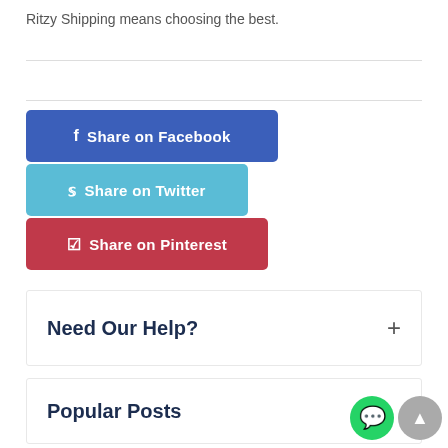Ritzy Shipping means choosing the best.
[Figure (other): Social share buttons: Share on Facebook (blue), Share on Twitter (teal), Share on Pinterest (red)]
Need Our Help? +
Popular Posts